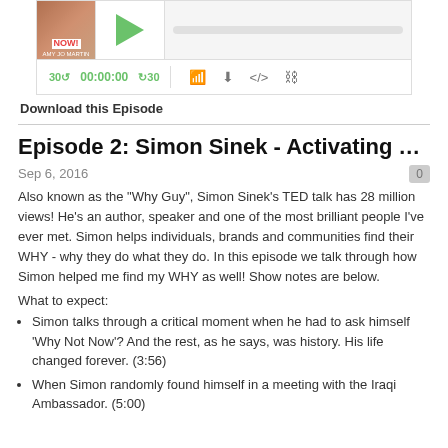[Figure (screenshot): Podcast player widget with thumbnail image of Amy Jo Martin, green play button, progress bar, and playback controls showing 30-second skip, 00:00:00 timer, and icons for RSS, download, embed, and share.]
Download this Episode
Episode 2: Simon Sinek - Activating Your W...
Sep 6, 2016
Also known as the "Why Guy", Simon Sinek's TED talk has 28 million views! He's an author, speaker and one of the most brilliant people I've ever met. Simon helps individuals, brands and communities find their WHY - why they do what they do. In this episode we talk through how Simon helped me find my WHY as well!  Show notes are below.
What to expect:
Simon talks through a critical moment when he had to ask himself 'Why Not Now'? And the rest, as he says, was history. His life changed forever. (3:56)
When Simon randomly found himself in a meeting with the Iraqi Ambassador. (5:00)